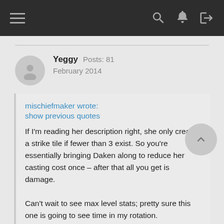Navigation bar with hamburger menu, search, and login icons
Yeggy  Posts: 81
February 2014
mischiefmaker wrote:
show previous quotes
If I'm reading her description right, she only creates a strike tile if fewer than 3 exist. So you're essentially bringing Daken along to reduce her casting cost once – after that all you get is damage.

Can't wait to see max level stats; pretty sure this one is going to see time in my rotation.